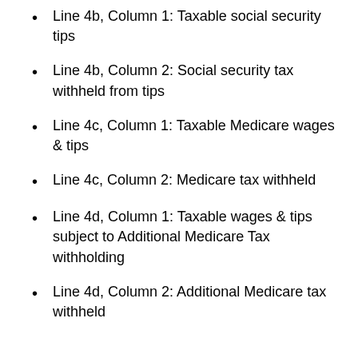Line 4b, Column 1: Taxable social security tips
Line 4b, Column 2: Social security tax withheld from tips
Line 4c, Column 1: Taxable Medicare wages & tips
Line 4c, Column 2: Medicare tax withheld
Line 4d, Column 1: Taxable wages & tips subject to Additional Medicare Tax withholding
Line 4d, Column 2: Additional Medicare tax withheld